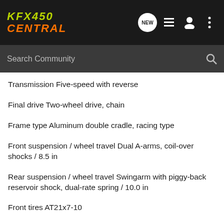KFX450 CENTRAL
Search Community
Transmission Five-speed with reverse
Final drive Two-wheel drive, chain
Frame type Aluminum double cradle, racing type
Front suspension / wheel travel Dual A-arms, coil-over shocks / 8.5 in
Rear suspension / wheel travel Swingarm with piggy-back reservoir shock, dual-rate spring / 10.0 in
Front tires AT21x7-10
Rear tires AT20x10-9